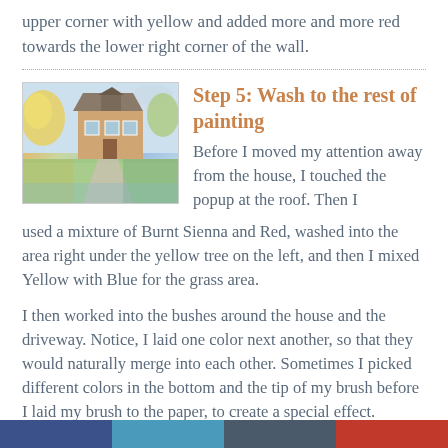upper corner with yellow and added more and more red towards the lower right corner of the wall.
Step 5: Wash to the rest of painting
[Figure (illustration): Watercolor painting of a house with trees, driveway, and colorful wash of yellows, oranges, greens, and blues]
Before I moved my attention away from the house, I touched the popup at the roof. Then I used a mixture of Burnt Sienna and Red, washed into the area right under the yellow tree on the left, and then I mixed Yellow with Blue for the grass area.
I then worked into the bushes around the house and the driveway. Notice, I laid one color next another, so that they would naturally merge into each other. Sometimes I picked different colors in the bottom and the tip of my brush before I laid my brush to the paper, to create a special effect.